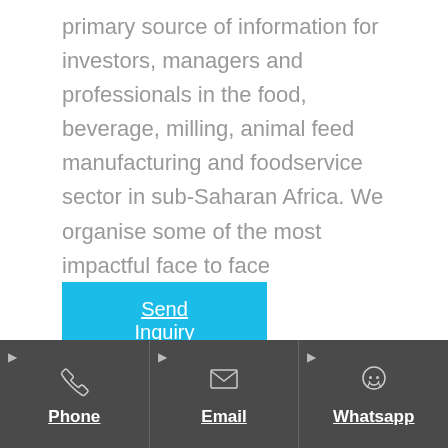primary source of information for investors, managers and professionals in the food, beverage, milling, animal feed manufacturing and foodservice sector in sub-Saharan Africa. We organise some of the most impactful face to face
Send Inquiry
Phone | Email | Whatsapp